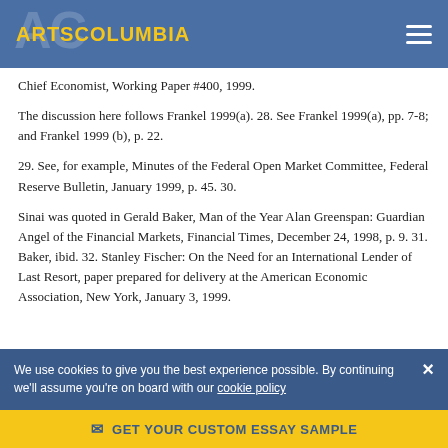ARTSCOLUMBIA
Chief Economist, Working Paper #400, 1999.
The discussion here follows Frankel 1999(a). 28. See Frankel 1999(a), pp. 7-8; and Frankel 1999 (b), p. 22.
29. See, for example, Minutes of the Federal Open Market Committee, Federal Reserve Bulletin, January 1999, p. 45. 30.
Sinai was quoted in Gerald Baker, Man of the Year Alan Greenspan: Guardian Angel of the Financial Markets, Financial Times, December 24, 1998, p. 9. 31. Baker, ibid. 32. Stanley Fischer: On the Need for an International Lender of Last Resort, paper prepared for delivery at the American Economic Association, New York, January 3, 1999.
We use cookies to give you the best experience possible. By continuing we'll assume you're on board with our cookie policy
GET YOUR CUSTOM ESSAY SAMPLE